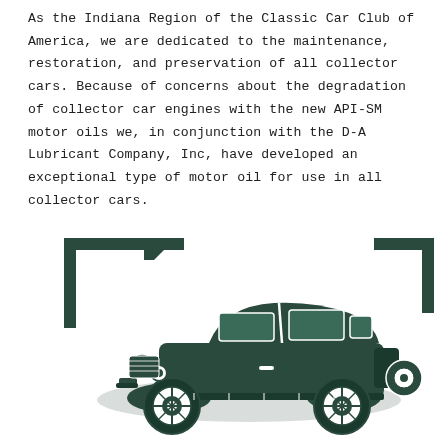As the Indiana Region of the Classic Car Club of America, we are dedicated to the maintenance, restoration, and preservation of all collector cars. Because of concerns about the degradation of collector car engines with the new API-SM motor oils we, in conjunction with the D-A Lubricant Company, Inc, have developed an exceptional type of motor oil for use in all collector cars.
[Figure (illustration): Black and white illustration of a classic vintage car (1930s style), shown in a decorative frame with a thick L-shaped border in the upper-left and upper-right corners.]